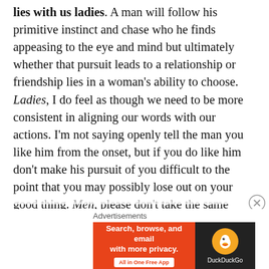lies with us ladies. A man will follow his primitive instinct and chase who he finds appeasing to the eye and mind but ultimately whether that pursuit leads to a relationship or friendship lies in a woman's ability to choose. Ladies, I do feel as though we need to be more consistent in aligning our words with our actions. I'm not saying openly tell the man you like him from the onset, but if you do like him don't make his pursuit of you difficult to the point that you may possibly lose out on your good thing. Men, please don't take the same approach with all women, pay attention and listen to the subtle hints that she gives you with her body language, her words and her actions and maybe, just maybe, her no will turn into a
[Figure (other): DuckDuckGo advertisement banner: 'Search, browse, and email with more privacy. All in One Free App' with DuckDuckGo logo on dark background]